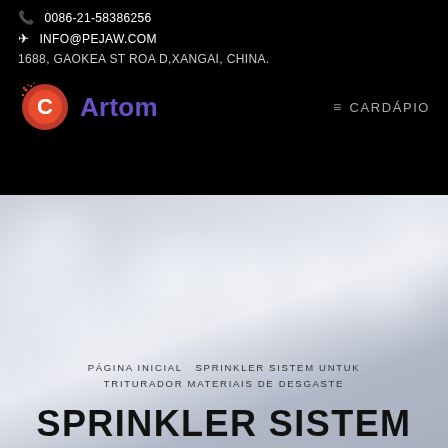0086-21-58386256
INFO@PEJAW.COM
1688, GAOKEA ST ROA D,XANGAI, CHINA.
[Figure (logo): Artom company logo: red circular planet/comet icon with letter C, and purple bold text 'Artom']
≡ CARDÁPIO
[Figure (photo): Blurred bokeh background photo with white light circles on a grey-blue gradient background, resembling an indoor industrial or warehouse setting]
PÁGINA INICIAL  SPRINKLER SISTEM UNTUK TRITURADOR MATERIAIS DE DESGASTE
SPRINKLER SISTEM